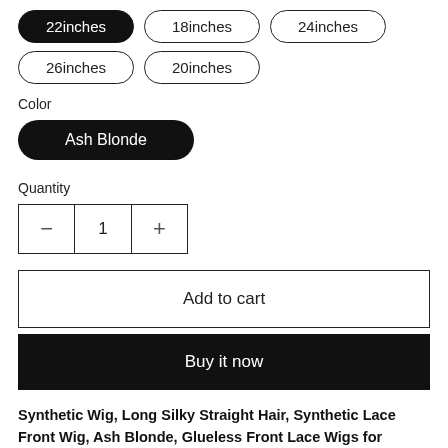22inches (selected), 18inches, 24inches, 26inches, 20inches
Color
Ash Blonde (selected)
Quantity
- 1 +
Add to cart
Buy it now
Synthetic Wig, Long Silky Straight Hair, Synthetic Lace Front Wig, Ash Blonde, Glueless Front Lace Wigs for